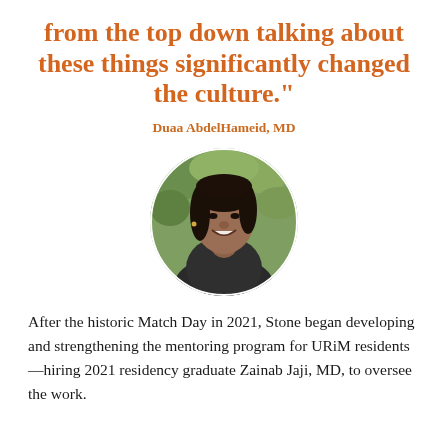from the top down talking about these things significantly changed the culture."
Duaa AbdelHameid, MD
[Figure (photo): Circular portrait photo of Duaa AbdelHameid, MD — a woman with long dark hair, wearing a dark blazer, smiling, with green foliage in the background.]
After the historic Match Day in 2021, Stone began developing and strengthening the mentoring program for URiM residents—hiring 2021 residency graduate Zainab Jaji, MD, to oversee the work.